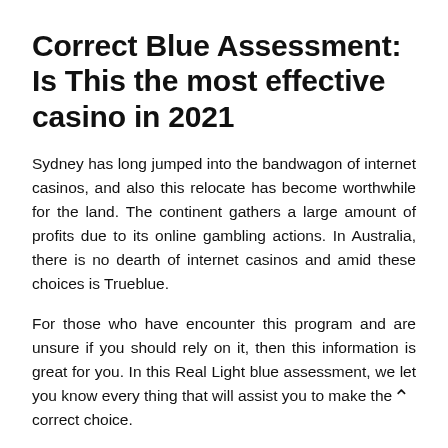Correct Blue Assessment: Is This the most effective casino in 2021
Sydney has long jumped into the bandwagon of internet casinos, and also this relocate has become worthwhile for the land. The continent gathers a large amount of profits due to its online gambling actions. In Australia, there is no dearth of internet casinos and amid these choices is Trueblue.
For those who have encounter this program and are unsure if you should rely on it, then this information is great for you. In this Real Light blue assessment, we let you know every thing that will assist you to make the correct choice.
A Synopsis The Genuine Blue casino was launched in 2018, it is therefore comparatively a whole new system